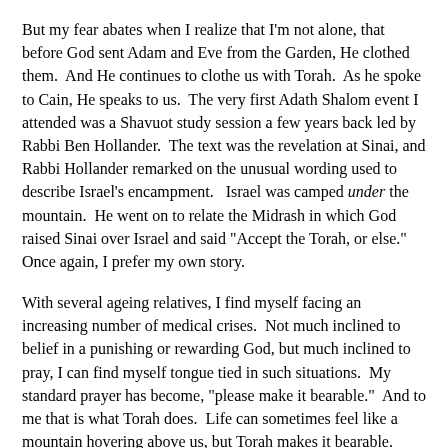But my fear abates when I realize that I'm not alone, that before God sent Adam and Eve from the Garden, He clothed them.  And He continues to clothe us with Torah.  As he spoke to Cain, He speaks to us.  The very first Adath Shalom event I attended was a Shavuot study session a few years back led by Rabbi Ben Hollander.  The text was the revelation at Sinai, and Rabbi Hollander remarked on the unusual wording used to describe Israel's encampment.   Israel was camped under the mountain.  He went on to relate the Midrash in which God raised Sinai over Israel and said "Accept the Torah, or else."  Once again, I prefer my own story.
With several ageing relatives, I find myself facing an increasing number of medical crises.  Not much inclined to belief in a punishing or rewarding God, but much inclined to pray, I can find myself tongue tied in such situations.  My standard prayer has become, "please make it bearable."  And to me that is what Torah does.  Life can sometimes feel like a mountain hovering above us, but Torah makes it bearable.  Torah guides us, comforts us, and opens for us the wonder and beauty of creation.  Torah gives us the strength and joy to create our own righteous life and become ourselves a part of the living Torah.  Through our responsible but flawed actions, God's words can once again become real.